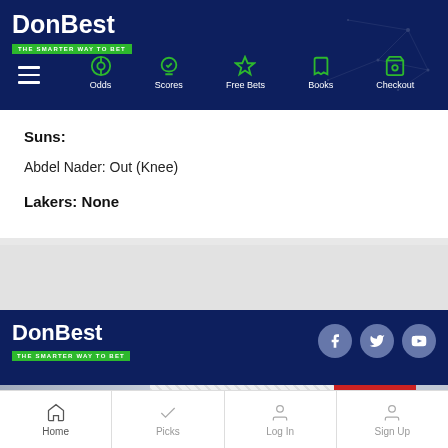[Figure (screenshot): DonBest website header with logo and navigation bar showing Odds, Scores, Free Bets, Books, Checkout]
Suns:
Abdel Nader: Out (Knee)
Lakers: None
[Figure (logo): DonBest footer logo with social media icons for Facebook, Twitter, YouTube]
Get the best daily PICKS and subscriptions
Stay informed with DonBest.Cappers
Home  Picks  Log In  Sign Up